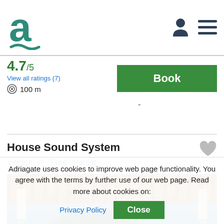[Figure (logo): Adriagate logo – stylized 'a' with wave, teal color]
4.7/5
View all ratings (7)
⊙ 100 m
Book
House Sound System
Vinisce  Free Internet  ...
[Figure (photo): Outdoor terrace with wooden pergola/thatched roof, sea view with boats and a green hill in the background, white columns visible]
Safe stay
Adriagate uses cookies to improve web page functionality. You agree with the terms by further use of our web page. Read more about cookies on:
Privacy Policy
Close